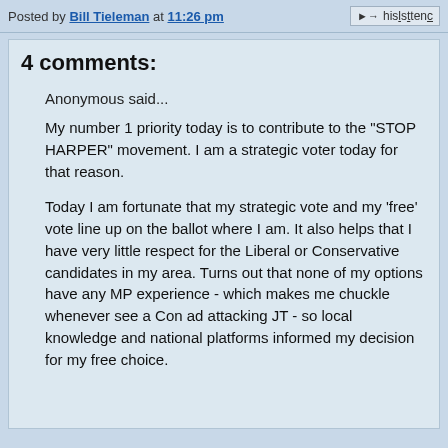Posted by Bill Tieleman at 11:26 pm
4 comments:
Anonymous said...
My number 1 priority today is to contribute to the "STOP HARPER" movement. I am a strategic voter today for that reason.

Today I am fortunate that my strategic vote and my 'free' vote line up on the ballot where I am. It also helps that I have very little respect for the Liberal or Conservative candidates in my area. Turns out that none of my options have any MP experience - which makes me chuckle whenever see a Con ad attacking JT - so local knowledge and national platforms informed my decision for my free choice.